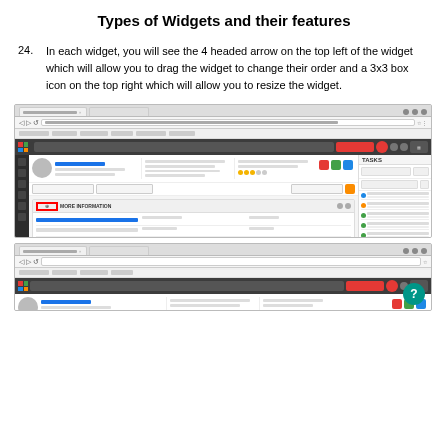Types of Widgets and their features
In each widget, you will see the 4 headed arrow on the top left of the widget which will allow you to drag the widget to change their order and a 3x3 box icon on the top right which will allow you to resize the widget.
[Figure (screenshot): Screenshot of a CRM web application showing a widget panel with a red-highlighted move icon (4-headed arrow) at the top left of a widget labeled 'MORE INFORMATION', demonstrating drag-to-reorder functionality. The interface includes browser tabs, navigation bar, user profile, and a right panel with task items.]
[Figure (screenshot): Second screenshot of the same CRM web application, partially visible, showing the bottom portion of the interface with a teal circle help button at the bottom right corner.]